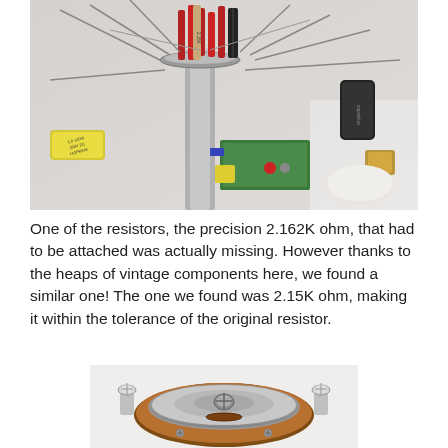[Figure (photo): Close-up photograph of vintage electronic components including resistors, capacitors, and wiring attached to a circuit assembly. A yellow capacitor labeled '1.0 ±20% 200V DC HOPKINS' is visible on the left, and various red, black, and beige resistors are visible including one marked '2.15K'. Green circuit board components are visible at the bottom.]
One of the resistors, the precision 2.162K ohm, that had to be attached was actually missing. However thanks to the heaps of vintage components here, we found a similar one! The one we found was 2.15K ohm, making it within the tolerance of the original resistor.
[Figure (photo): Photograph of the bottom of a circular component (likely a potentiometer or rheostat) showing metal mounting posts/bolts, a circular brown/copper base with silver metal casing, and screw terminals.]